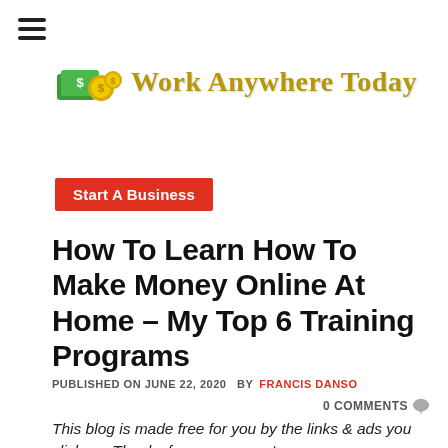[Figure (logo): Work Anywhere Today logo with money coins and bills icon and gold text]
Start A Business
How To Learn How To Make Money Online At Home – My Top 6 Training Programs
PUBLISHED ON JUNE 22, 2020  BY FRANCIS DANSO
0 COMMENTS
This blog is made free for you by the links & ads you click on. Thanks for your support.